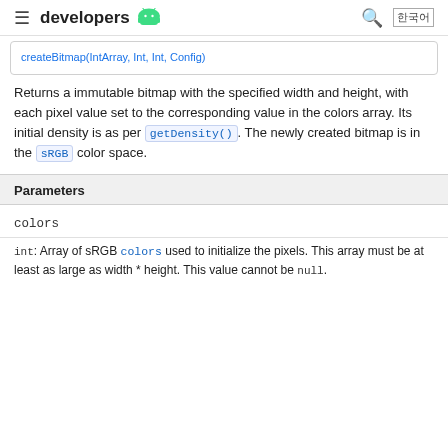≡ developers 🤖 🔍 한국어
Returns a immutable bitmap with the specified width and height, with each pixel value set to the corresponding value in the colors array. Its initial density is as per getDensity(). The newly created bitmap is in the sRGB color space.
| Parameters |
| --- |
| colors |
| int: Array of sRGB colors used to initialize the pixels. This array must be at least as large as width * height. This value cannot be null. |
int: Array of sRGB colors used to initialize the pixels. This array must be at least as large as width * height. This value cannot be null.